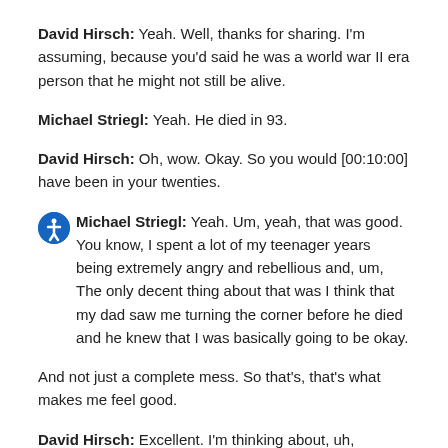David Hirsch: Yeah. Well, thanks for sharing. I'm assuming, because you'd said he was a world war II era person that he might not still be alive.
Michael Striegl: Yeah. He died in 93.
David Hirsch: Oh, wow. Okay. So you would [00:10:00] have been in your twenties.
Michael Striegl: Yeah. Um, yeah, that was good. You know, I spent a lot of my teenager years being extremely angry and rebellious and, um, The only decent thing about that was I think that my dad saw me turning the corner before he died and he knew that I was basically going to be okay.
And not just a complete mess. So that's, that's what makes me feel good.
David Hirsch: Excellent. I'm thinking about, uh, Grandfather is. And I'm wondering if there's any